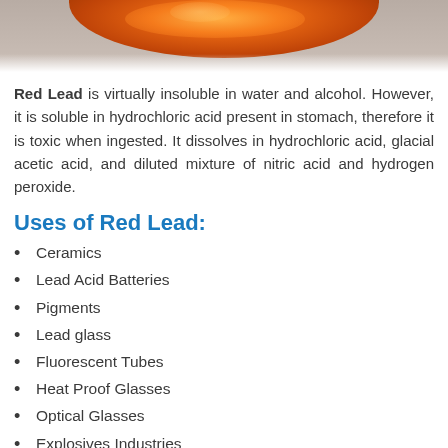[Figure (photo): Close-up photo of red lead (minium) powder, showing orange-red granular substance on a light background]
Red Lead is virtually insoluble in water and alcohol. However, it is soluble in hydrochloric acid present in stomach, therefore it is toxic when ingested. It dissolves in hydrochloric acid, glacial acetic acid, and diluted mixture of nitric acid and hydrogen peroxide.
Uses of Red Lead:
Ceramics
Lead Acid Batteries
Pigments
Lead glass
Fluorescent Tubes
Heat Proof Glasses
Optical Glasses
Explosives Industries